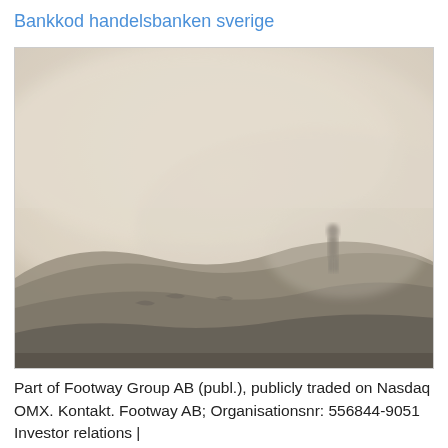Bankkod handelsbanken sverige
[Figure (photo): A lone person standing on a misty hilltop, surrounded by thick fog. The scene is desaturated with warm beige/grey tones. The figure is silhouetted against the foggy background in the lower-right area of the image.]
Part of Footway Group AB (publ.), publicly traded on Nasdaq OMX. Kontakt. Footway AB; Organisationsnr: 556844-9051 Investor relations |